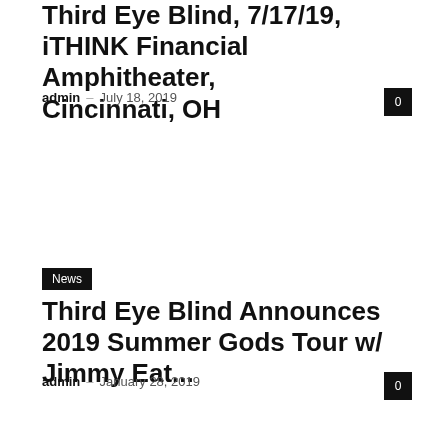Third Eye Blind, 7/17/19, iTHINK Financial Amphitheater, Cincinnati, OH
admin – July 18, 2019
0
News
Third Eye Blind Announces 2019 Summer Gods Tour w/ Jimmy Eat...
admin – January 28, 2019
0